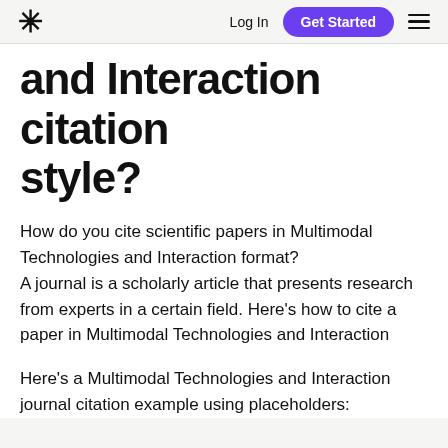* Log In Get Started ≡
and Interaction citation style?
How do you cite scientific papers in Multimodal Technologies and Interaction format?
A journal is a scholarly article that presents research from experts in a certain field. Here's how to cite a paper in Multimodal Technologies and Interaction
Here's a Multimodal Technologies and Interaction journal citation example using placeholders: